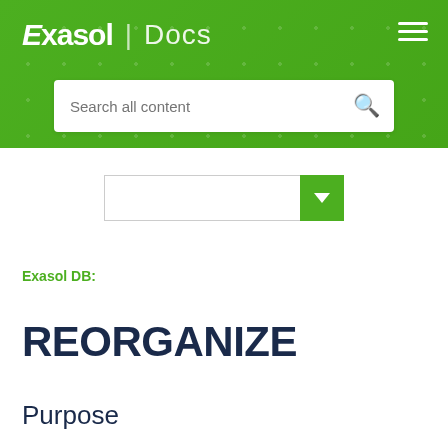Exasol | Docs
[Figure (screenshot): Search bar with placeholder text 'Search all content' and a search icon on the right]
[Figure (screenshot): Dropdown selector widget with a green button containing a down-arrow]
Exasol DB:
REORGANIZE
Purpose